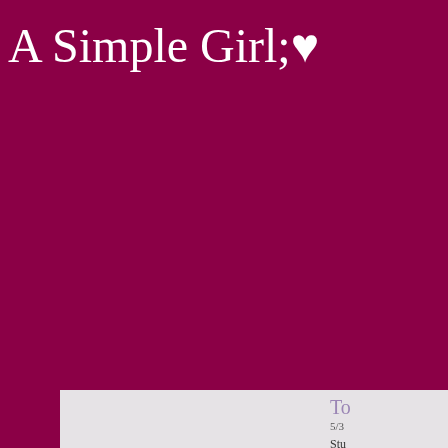A Simple Girl;♥
To
5/3
Stu
De
stu
Ap
tim
Stu
lea